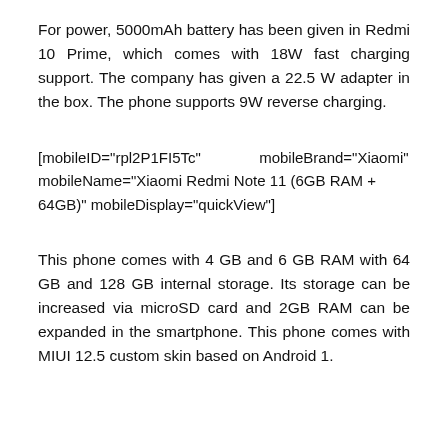For power, 5000mAh battery has been given in Redmi 10 Prime, which comes with 18W fast charging support. The company has given a 22.5 W adapter in the box. The phone supports 9W reverse charging.
[mobileID="rpl2P1FI5Tc"   mobileBrand="Xiaomi" mobileName="Xiaomi Redmi Note 11 (6GB RAM + 64GB)" mobileDisplay="quickView"]
This phone comes with 4 GB and 6 GB RAM with 64 GB and 128 GB internal storage. Its storage can be increased via microSD card and 2GB RAM can be expanded in the smartphone. This phone comes with MIUI 12.5 custom skin based on Android 1.